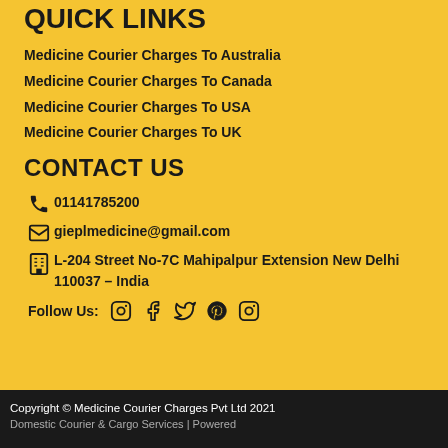QUICK LINKS
Medicine Courier Charges To Australia
Medicine Courier Charges To Canada
Medicine Courier Charges To USA
Medicine Courier Charges To UK
CONTACT US
01141785200
gieplmedicine@gmail.com
L-204 Street No-7C Mahipalpur Extension New Delhi 110037 – India
Follow Us:
Copyright © Medicine Courier Charges Pvt Ltd 2021
Domestic Courier & Cargo Services | Powered